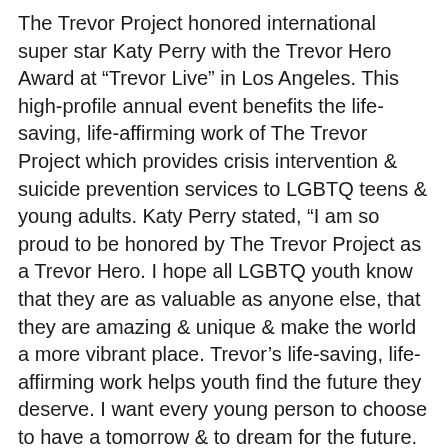The Trevor Project honored international super star Katy Perry with the Trevor Hero Award at “Trevor Live” in Los Angeles. This high-profile annual event benefits the life-saving, life-affirming work of The Trevor Project which provides crisis intervention & suicide prevention services to LGBTQ teens & young adults. Katy Perry stated, “I am so proud to be honored by The Trevor Project as a Trevor Hero. I hope all LGBTQ youth know that they are as valuable as anyone else, that they are amazing & unique & make the world a more vibrant place. Trevor’s life-saving, life-affirming work helps youth find the future they deserve. I want every young person to choose to have a tomorrow & to dream for the future. And if they don’t get to hear it enough, I hope they know that they can pick up the phone to call the Trevor Lifeline, or log on and talk to someone on TrevorChat. It’s okay to ask for help. You are worth it. Make a pledge to yourself to get help if you need it, because we need you in our lives.” LGBTQ teens are up to four times more likely to attempt suicide than their heterosexual peers & every day The Trevor Project saves young lives through its free & confidential lifeline, in-school workshops, educational materials, online resources & advocacy. The Trevor Project